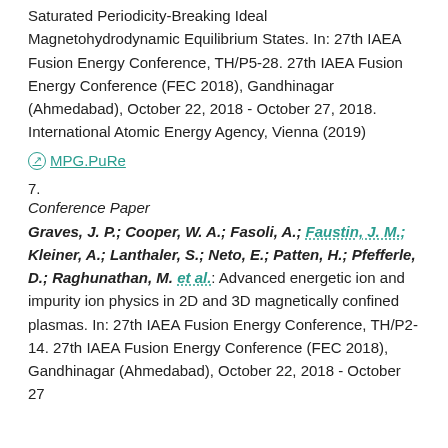Saturated Periodicity-Breaking Ideal Magnetohydrodynamic Equilibrium States. In: 27th IAEA Fusion Energy Conference, TH/P5-28. 27th IAEA Fusion Energy Conference (FEC 2018), Gandhinagar (Ahmedabad), October 22, 2018 - October 27, 2018. International Atomic Energy Agency, Vienna (2019)
MPG.PuRe
7.
Conference Paper
Graves, J. P.; Cooper, W. A.; Fasoli, A.; Faustin, J. M.; Kleiner, A.; Lanthaler, S.; Neto, E.; Patten, H.; Pfefferle, D.; Raghunathan, M. et al.: Advanced energetic ion and impurity ion physics in 2D and 3D magnetically confined plasmas. In: 27th IAEA Fusion Energy Conference, TH/P2-14. 27th IAEA Fusion Energy Conference (FEC 2018), Gandhinagar (Ahmedabad), October 22, 2018 - October 27